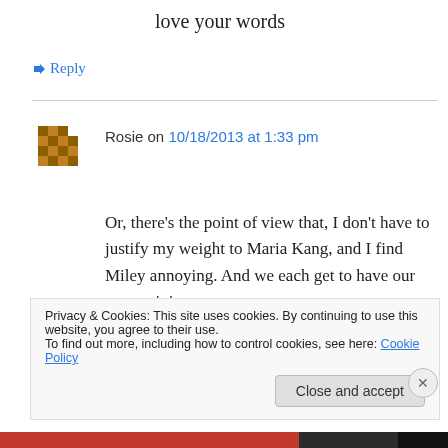love your words
↳ Reply
Rosie on 10/18/2013 at 1:33 pm
Or, there's the point of view that, I don't have to justify my weight to Maria Kang, and I find Miley annoying. And we each get to have our own opinion.
↳ Reply
Privacy & Cookies: This site uses cookies. By continuing to use this website, you agree to their use. To find out more, including how to control cookies, see here: Cookie Policy
Close and accept